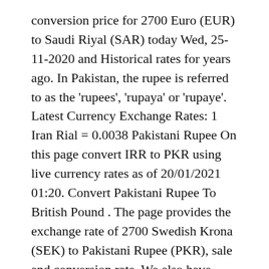conversion price for 2700 Euro (EUR) to Saudi Riyal (SAR) today Wed, 25-11-2020 and Historical rates for years ago. In Pakistan, the rupee is referred to as the 'rupees', 'rupaya' or 'rupaye'. Latest Currency Exchange Rates: 1 Iran Rial = 0.0038 Pakistani Rupee On this page convert IRR to PKR using live currency rates as of 20/01/2021 01:20. Convert Pakistani Rupee To British Pound . The page provides the exchange rate of 2700 Swedish Krona (SEK) to Pakistani Rupee (PKR), sale and conversion rate. We also have mid-market INR-PYG currency exchange rates, with today update. The result of conversion is updated every minute. How much is 2700 US Dollar in Pakistani Rupee? The page provides the exchange rate of 2700 Euro (EUR) to Saudi Riyal (SAR), sale and conversion rate. The real time 1 Saudi Riyal to Pakistani Rupee is PKR 42.5 in local currency exchange rate, open market and inter-bank Forex rates. Full history please visit GBP/PKR History Moreover, we added